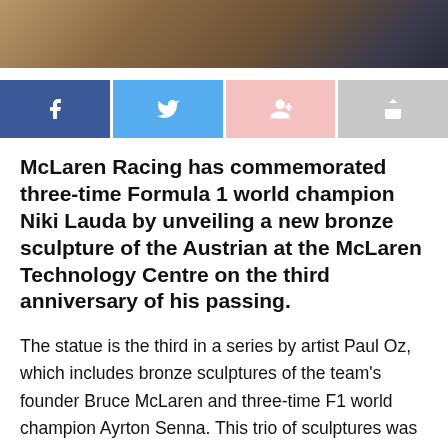[Figure (photo): Cropped photo strip showing bronze sculpture figures at the top of the page]
[Figure (infographic): Social sharing buttons bar: Facebook (dark blue), Twitter (light blue), Google+ (pink), Share (grey)]
McLaren Racing has commemorated three-time Formula 1 world champion Niki Lauda by unveiling a new bronze sculpture of the Austrian at the McLaren Technology Centre on the third anniversary of his passing.
The statue is the third in a series by artist Paul Oz, which includes bronze sculptures of the team's founder Bruce McLaren and three-time F1 world champion Ayrton Senna. This trio of sculptures was commissioned by McLaren's long-time shareholder